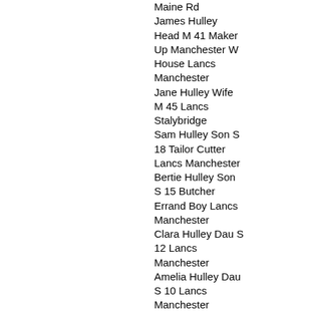Maine Rd James Hulley Head M 41 Maker Up Manchester W House Lancs Manchester Jane Hulley Wife M 45 Lancs Stalybridge Sam Hulley Son S 18 Tailor Cutter Lancs Manchester Bertie Hulley Son S 15 Butcher Errand Boy Lancs Manchester Clara Hulley Dau S 12 Lancs Manchester Amelia Hulley Dau S 10 Lancs Manchester
1907 - LancsBMD death entry: HULLEY Jane 52 Hulme
1907 Sep qtr - died at Chorlton RD: Hulley Jane 52 vol